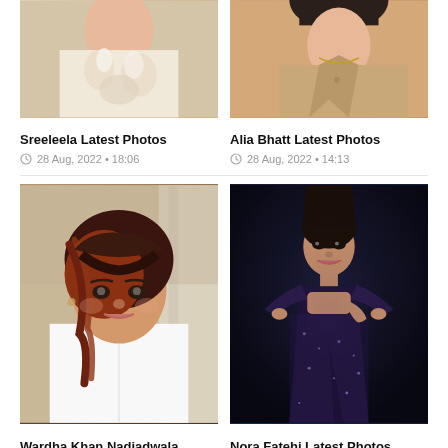[Figure (photo): Partial photo of Sreeleela in a light beige/cream embroidered outfit, cropped at top]
[Figure (photo): Partial photo of Alia Bhatt in a beige/tan blazer with necklace, cropped at top]
Sreeleela Latest Photos
28 Aug, 2022 • 18:06
Alia Bhatt Latest Photos
28 Aug, 2022 • 14:13
[Figure (photo): Photo of Wardha Khan Nadiadwala with red-brown layered hair, white shirt, looking at camera]
[Figure (photo): Photo of Nora Fatehi in a dark purple/navy sparkly gown, posing against dark background]
Wardha Khan Nadiadwala Latest
Nora Fatehi Latest Photos